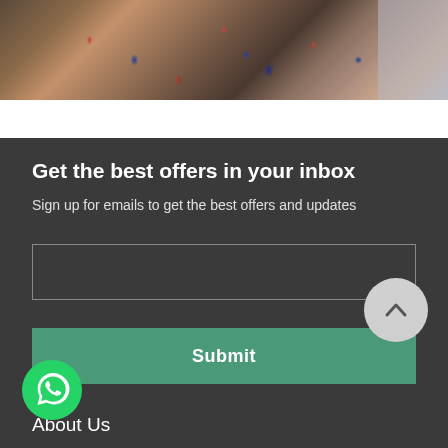[Figure (photo): Partial view of a person wearing a floral/patterned dress, cropped at top of page]
Get the best offers in your inbox
Sign up for emails to get the best offers and updates
Enter your E-mail ID
Submit
[Figure (logo): WhatsApp logo - green circle with white phone handset icon]
About Us